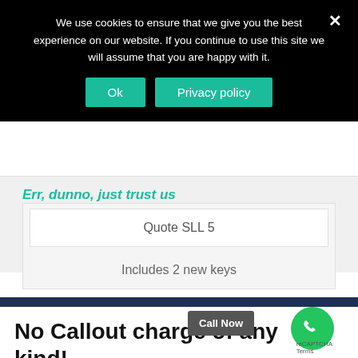We use cookies to ensure that we give you the best experience on our website. If you continue to use this site we will assume that you are happy with it.
Ok
Privacy policy
Quote SLL 5
Includes 2 new keys
No Callout charge of any kind!
Call Now